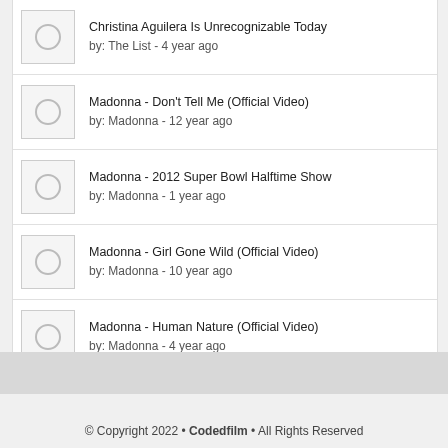Christina Aguilera Is Unrecognizable Today
by: The List - 4 year ago
Madonna - Don't Tell Me (Official Video)
by: Madonna - 12 year ago
Madonna - 2012 Super Bowl Halftime Show
by: Madonna - 1 year ago
Madonna - Girl Gone Wild (Official Video)
by: Madonna - 10 year ago
Madonna - Human Nature (Official Video)
by: Madonna - 4 year ago
© Copyright 2022 • Codedfilm • All Rights Reserved